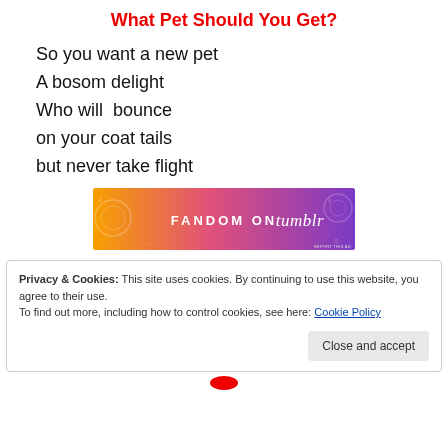What Pet Should You Get?
So you want a new pet
A bosom delight
Who will  bounce
on your coat tails
but never take flight
[Figure (other): Fandom on Tumblr advertisement banner with orange-to-purple gradient and decorative patterns]
Privacy & Cookies: This site uses cookies. By continuing to use this website, you agree to their use.
To find out more, including how to control cookies, see here: Cookie Policy
Close and accept